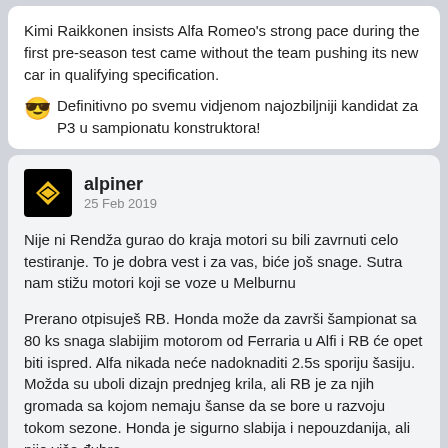Kimi Raikkonen insists Alfa Romeo's strong pace during the first pre-season test came without the team pushing its new car in qualifying specification.
😎 Definitivno po svemu vidjenom najozbiljniji kandidat za P3 u sampionatu konstruktora!
alpiner
25 Feb 2019
Nije ni Rendža gurao do kraja motori su bili zavrnuti celo testiranje. To je dobra vest i za vas, biće još snage. Sutra nam stižu motori koji se voze u Melburnu
Prerano otpisuješ RB. Honda može da završi šampionat sa 80 ks snaga slabijim motorom od Ferraria u Alfi i RB će opet biti ispred. Alfa nikada neće nadoknaditi 2.5s sporiju šasiju. Možda su uboli dizajn prednjeg krila, ali RB je za njih gromada sa kojom nemaju šanse da se bore u razvoju tokom sezone. Honda je sigurno slabija i nepouzdanija, ali nije više đubre.